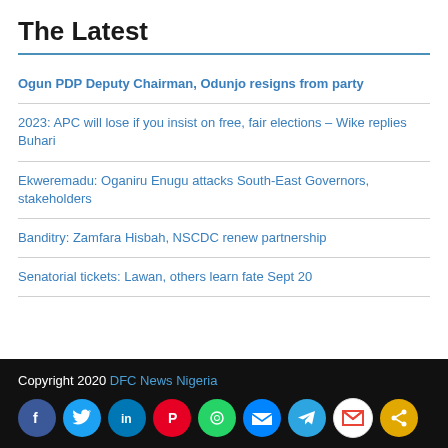The Latest
Ogun PDP Deputy Chairman, Odunjo resigns from party
2023: APC will lose if you insist on free, fair elections – Wike replies Buhari
Ekweremadu: Oganiru Enugu attacks South-East Governors, stakeholders
Banditry: Zamfara Hisbah, NSCDC renew partnership
Senatorial tickets: Lawan, others learn fate Sept 20
Copyright 2020 DFC News Nigeria